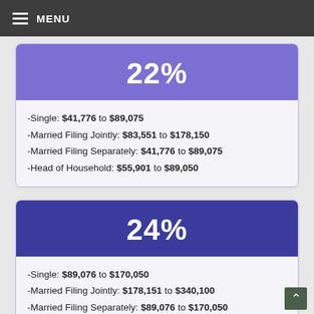MENU
22%
-Single: $41,776 to $89,075
-Married Filing Jointly: $83,551 to $178,150
-Married Filing Separately: $41,776 to $89,075
-Head of Household: $55,901 to $89,050
24%
-Single: $89,076 to $170,050
-Married Filing Jointly: $178,151 to $340,100
-Married Filing Separately: $89,076 to $170,050
-Head of Household: $89,051 to $170,050